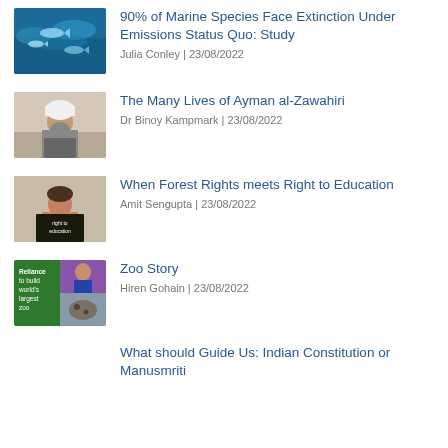[Figure (photo): Underwater photo of fish/marine life]
90% of Marine Species Face Extinction Under Emissions Status Quo: Study
Julia Conley | 23/08/2022
[Figure (photo): Person in white cap and grey jacket]
The Many Lives of Ayman al-Zawahiri
Dr Binoy Kampmark | 23/08/2022
[Figure (photo): Child holding a sign saying right to education]
When Forest Rights meets Right to Education
Amit Sengupta | 23/08/2022
[Figure (photo): Collage image: Reliance to build world's largest zoo text and animal images]
Zoo Story
Hiren Gohain | 23/08/2022
What should Guide Us: Indian Constitution or Manusmriti